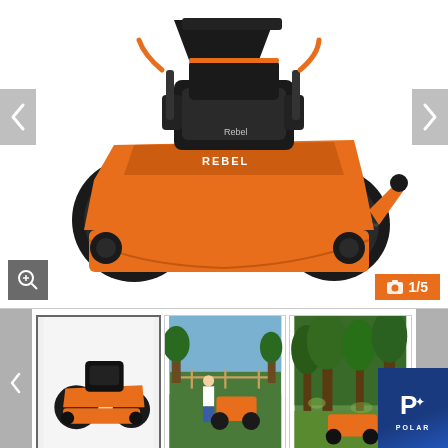[Figure (photo): Orange and black zero-turn riding lawn mower (Bad Boy Rebel) shown from front-left angle on white background. Main product image.]
[Figure (photo): Thumbnail 1: Same orange zero-turn mower on white background (selected/active).]
[Figure (photo): Thumbnail 2: Man in white shirt standing next to orange zero-turn mower on green lawn with fence in background.]
[Figure (photo): Thumbnail 3: Orange zero-turn mower on lawn near trees with dappled light.]
| Attribute | Value |
| --- | --- |
| Condition | New |
| Model Type | Rebel |
| Model Code | BRB7236VA |